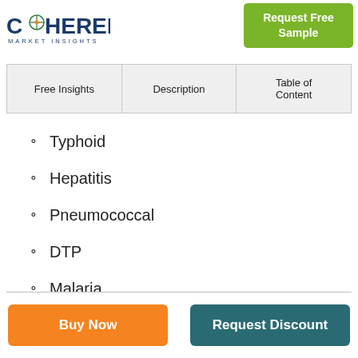[Figure (logo): Coherent Market Insights logo with compass-like icon]
[Figure (other): Request Free Sample green button]
| Free Insights | Description | Table of Content |
| --- | --- | --- |
Typhoid
Hepatitis
Pneumococcal
DTP
Malaria
Influenza
[Figure (other): Buy Now orange button]
[Figure (other): Request Discount teal button]